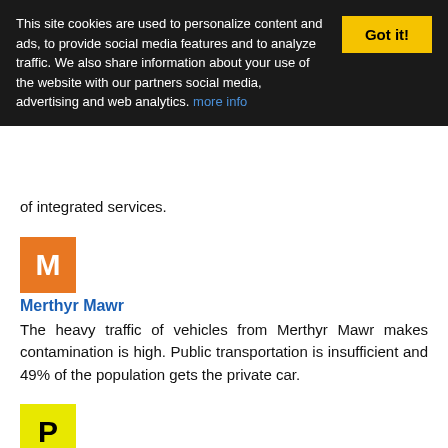This site cookies are used to personalize content and ads, to provide social media features and to analyze traffic. We also share information about your use of the website with our partners social media, advertising and web analytics. more info
of integrated services.
[Figure (other): Orange square icon with white letter M]
Merthyr Mawr
The heavy traffic of vehicles from Merthyr Mawr makes contamination is high. Public transportation is insufficient and 49% of the population gets the private car.
[Figure (other): Yellow square icon with black letter P]
Pyle
Is a people of United Kingdom. His shield shows all story has led to this time. Its area is about 66 km. 72% of tourists said that it is a charming city.
[Figure (other): Blue square icon with white letter L]
Llangewydd